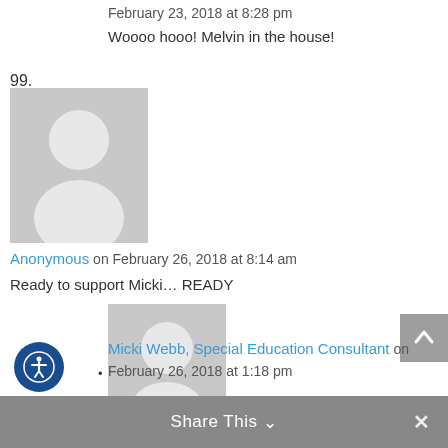February 23, 2018 at 8:28 pm
Woooo hooo! Melvin in the house!
99.
[Figure (photo): Gray placeholder avatar image for comment 99]
Anonymous on February 26, 2018 at 8:14 am
Ready to support Micki… READY
[Figure (photo): Gray placeholder avatar image for reply]
Micki Webb, Special Education Consultant on February 26, 2018 at 1:18 pm
Thanks so much Lulu!
Share This